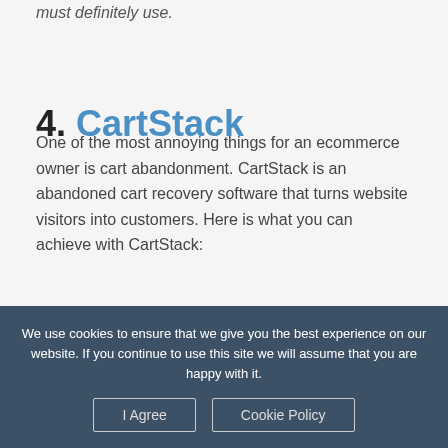must definitely use.
4. CartStack
One of the most annoying things for an ecommerce owner is cart abandonment. CartStack is an abandoned cart recovery software that turns website visitors into customers. Here is what you can achieve with CartStack:
The platform sends a set of branded email reminders to get the shoppers return to your
We use cookies to ensure that we give you the best experience on our website. If you continue to use this site we will assume that you are happy with it.
I Agree | Cookie Policy